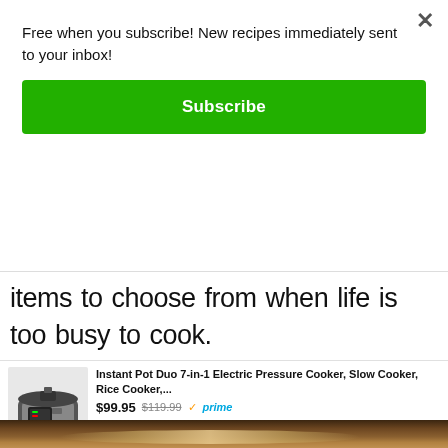Free when you subscribe! New recipes immediately sent to your inbox!
Subscribe
items to choose from when life is too busy to cook.
[Figure (other): Amazon ad for Instant Pot Duo 7-in-1 Electric Pressure Cooker, Slow Cooker, Rice Cooker,... priced at $99.95 (was $119.99) with Prime and 5-star rating. Ads by Amazon.]
[Figure (photo): Bottom portion of image showing a metallic pot or bowl on a wooden surface.]